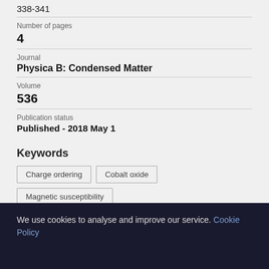338-341
Number of pages
4
Journal
Physica B: Condensed Matter
Volume
536
Publication status
Published - 2018 May 1
Keywords
Charge ordering
Cobalt oxide
Magnetic susceptibility
We use cookies to analyse and improve our service. Cookie Policy